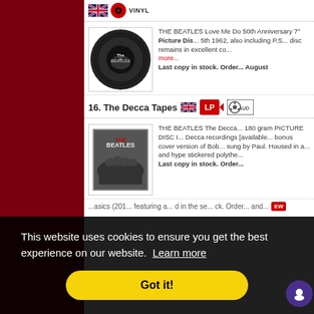[Figure (infographic): UK flag and VINYL badge icons at top of product listing]
THE BEATLES Love Me Do 50th Anniversary 7" Picture Dis... 5th 1962, also including P.S... disc remains in excellent co... more... Last copy in stock. Order... August
[Figure (illustration): Beatles Love Me Do 50th Anniversary Picture Disc round circular vinyl image]
16. The Decca Tapes
[Figure (infographic): UK flag, LP badge, and AUDIO reel badge icons for section 16]
THE BEATLES The Decca... 180 gram PICTURE DISC I... Decca recordings [available... bonus cover version of Bob... sung by Paul. Housed in a... and hype stickered polythe... Last copy in stock. Order...
[Figure (photo): Album cover for The Beatles The Decca Tapes showing band silhouettes]
...asics (201... featuring a... d in the se... ck. Order... and...
This website uses cookies to ensure you get the best experience on our website. Learn more
Got it!
[Figure (other): Purple circular chat widget icon in bottom right corner]